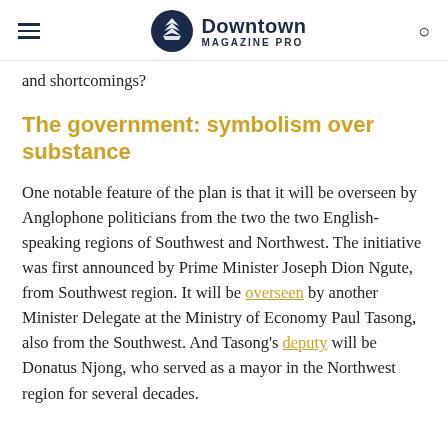Downtown Magazine Pro
and shortcomings?
The government: symbolism over substance
One notable feature of the plan is that it will be overseen by Anglophone politicians from the two the two English-speaking regions of Southwest and Northwest. The initiative was first announced by Prime Minister Joseph Dion Ngute, from Southwest region. It will be overseen by another Minister Delegate at the Ministry of Economy Paul Tasong, also from the Southwest. And Tasong's deputy will be Donatus Njong, who served as a mayor in the Northwest region for several decades.